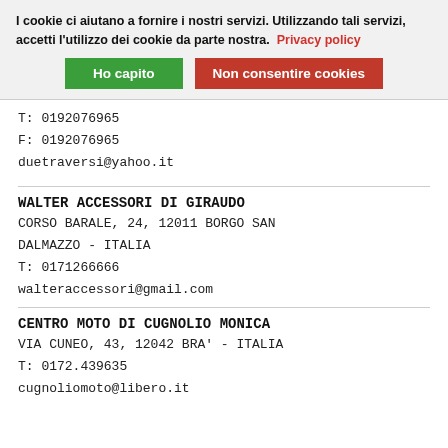I cookie ci aiutano a fornire i nostri servizi. Utilizzando tali servizi, accetti l'utilizzo dei cookie da parte nostra. Privacy policy
Ho capito | Non consentire cookies
T: 0192076965
F: 0192076965
duetraversi@yahoo.it
WALTER ACCESSORI DI GIRAUDO
CORSO BARALE, 24, 12011 BORGO SAN DALMAZZO - ITALIA
T: 0171266666
walteraccessori@gmail.com
CENTRO MOTO DI CUGNOLIO MONICA
VIA CUNEO, 43, 12042 BRA' - ITALIA
T: 0172.439635
cugnoliomoto@libero.it